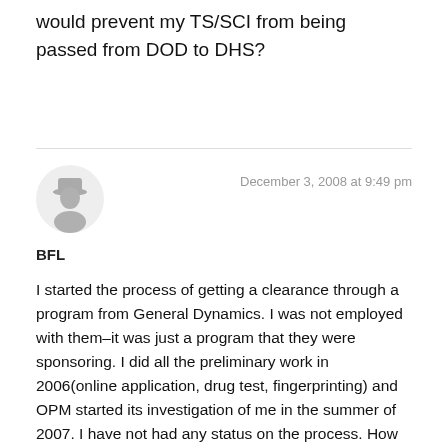would prevent my TS/SCI from being passed from DOD to DHS?
December 3, 2008 at 9:49 pm
[Figure (illustration): Circular avatar icon of a generic silhouette figure wearing a hat, gray tones]
BFL
I started the process of getting a clearance through a program from General Dynamics. I was not employed with them–it was just a program that they were sponsoring. I did all the preliminary work in 2006(online application, drug test, fingerprinting) and OPM started its investigation of me in the summer of 2007. I have not had any status on the process. How do I go about getting status? The people who I first was in contact with at General Dynamics are no longer there. I do not know anyone from General Dynamics. For this